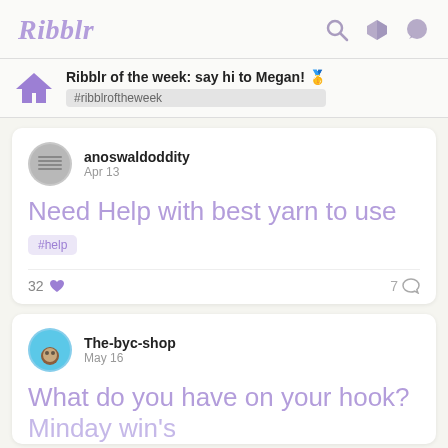Ribblr
Ribblr of the week: say hi to Megan! 🥇 #ribblroftheweek
anoswaldoddity
Apr 13
Need Help with best yarn to use
#help
32 ♥   7 💬
The-byc-shop
May 16
What do you have on your hook?
Minday win's